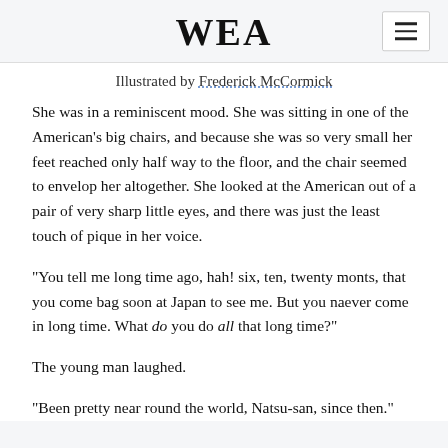WEA
Illustrated by Frederick McCormick
She was in a reminiscent mood. She was sitting in one of the American's big chairs, and because she was so very small her feet reached only half way to the floor, and the chair seemed to envelop her altogether. She looked at the American out of a pair of very sharp little eyes, and there was just the least touch of pique in her voice.
“You tell me long time ago, hah! six, ten, twenty monts, that you come bag soon at Japan to see me. But you naever come in long time. What do you do all that long time?”
The young man laughed.
“Been pretty near round the world, Natsu-san, since then.”